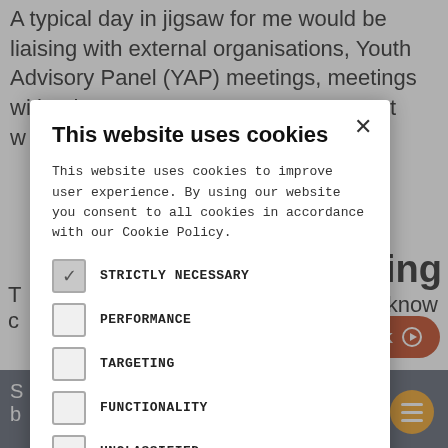A typical day in jigsaw for me would be liaising with external organisations, Youth Advisory Panel (YAP) meetings, meetings with other YCEWs, meetings with managers, engagement workers
The role involves getting to know the youth club.
coming
challenging situations in a disability
[Figure (screenshot): Cookie consent modal overlay on a webpage. Title: 'This website uses cookies'. Body text: 'This website uses cookies to improve user experience. By using our website you consent to all cookies in accordance with our Cookie Policy.' Checkboxes for: STRICTLY NECESSARY (checked), PERFORMANCE, TARGETING, FUNCTIONALITY, UNCLASSIFIED. Buttons: ACCEPT ALL, DECLINE ALL. Show details link at bottom. Close X button top right. Orange SPEAK button visible in background. Orange menu hamburger button bottom right.]
This website uses cookies
This website uses cookies to improve user experience. By using our website you consent to all cookies in accordance with our Cookie Policy.
STRICTLY NECESSARY
PERFORMANCE
TARGETING
FUNCTIONALITY
UNCLASSIFIED